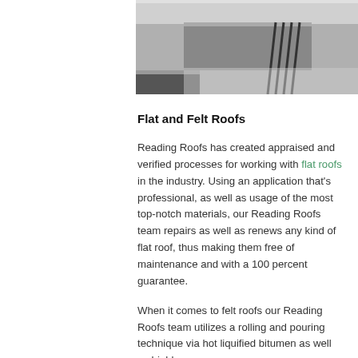[Figure (photo): Photograph showing roofing materials and equipment, partially visible at the top of the page]
Flat and Felt Roofs
Reading Roofs has created appraised and verified processes for working with flat roofs in the industry. Using an application that's professional, as well as usage of the most top-notch materials, our Reading Roofs team repairs as well as renews any kind of flat roof, thus making them free of maintenance and with a 100 percent guarantee.
When it comes to felt roofs our Reading Roofs team utilizes a rolling and pouring technique via hot liquified bitumen as well as highly